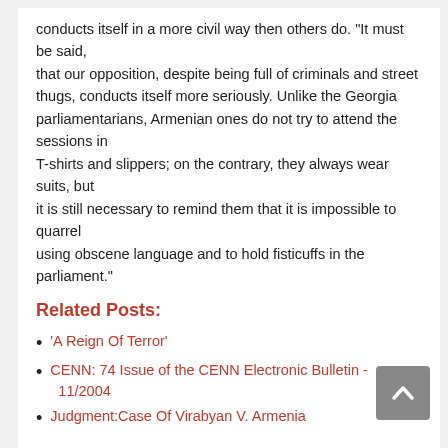conducts itself in a more civil way then others do. “It must be said, that our opposition, despite being full of criminals and street thugs, conducts itself more seriously. Unlike the Georgia parliamentarians, Armenian ones do not try to attend the sessions in T-shirts and slippers; on the contrary, they always wear suits, but it is still necessary to remind them that it is impossible to quarrel using obscene language and to hold fisticuffs in the parliament.”
Related Posts:
‘A Reign Of Terror’
CENN: 74 Issue of the CENN Electronic Bulletin - 11/2004
Judgment:Case Of Virabyan V. Armenia